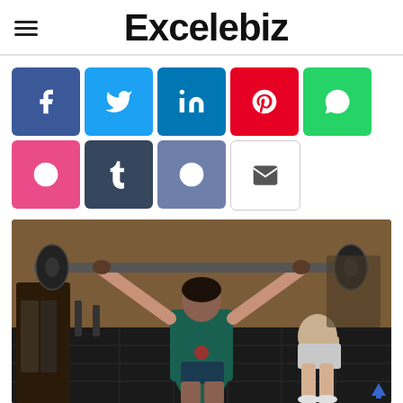Excelebiz
[Figure (other): Social media share buttons: Facebook, Twitter, LinkedIn, Pinterest, WhatsApp, Dribbble, Tumblr, Reddit, Email]
[Figure (photo): People in a gym lifting barbells overhead, with rubber flooring and gym equipment in background]